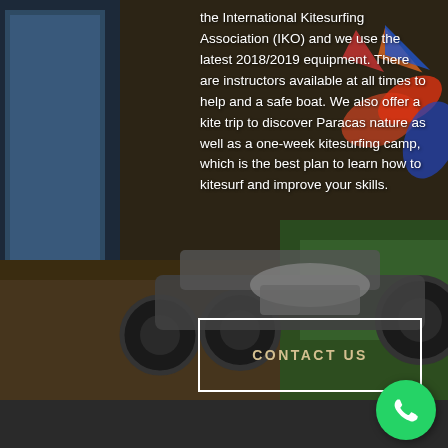[Figure (photo): Background photo of kitesurfing equipment and land kart/buggy on dirt ground with green turf, colorful kites visible. Dark, moody tones with browns, greens, and blacks.]
the International Kitesurfing Association (IKO) and we use the latest 2018/2019 equipment. There are instructors available at all times to help and a safe boat. We also offer a kite trip to discover Paracas nature as well as a one-week kitesurfing camp, which is the best plan to learn how to kitesurf and improve your skills.
CONTACT US
[Figure (logo): WhatsApp green circular icon with white phone handset symbol, positioned in the bottom right corner.]